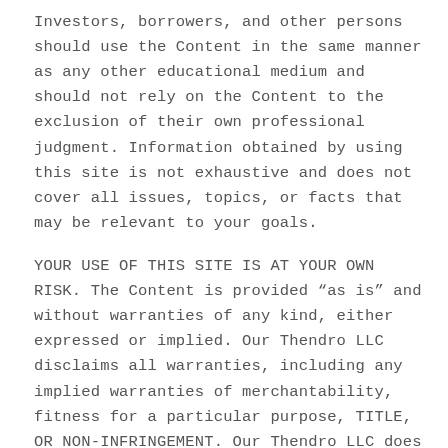Investors, borrowers, and other persons should use the Content in the same manner as any other educational medium and should not rely on the Content to the exclusion of their own professional judgment. Information obtained by using this site is not exhaustive and does not cover all issues, topics, or facts that may be relevant to your goals.
YOUR USE OF THIS SITE IS AT YOUR OWN RISK. The Content is provided “as is” and without warranties of any kind, either expressed or implied. Our Thendro LLC disclaims all warranties, including any implied warranties of merchantability, fitness for a particular purpose, TITLE, OR NON-INFRINGEMENT. Our Thendro LLC does not warrant that the functions OR Content contained in this site will be uninterrupted or error-free, that defects will be corrected, or that this site or